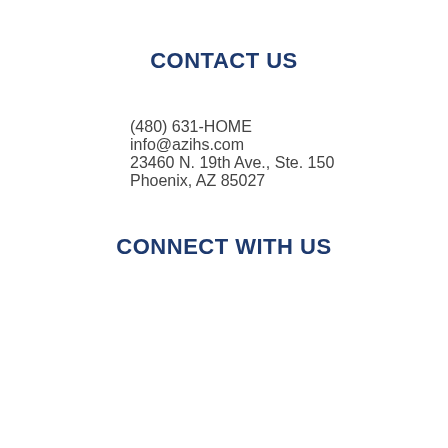CONTACT US
(480) 631-HOME
info@azihs.com
23460 N. 19th Ave., Ste. 150
Phoenix, AZ 85027
CONNECT WITH US